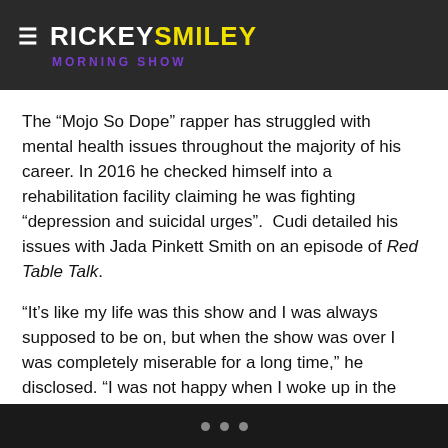RICKEYSMILEY MORNING SHOW
The “Mojo So Dope” rapper has struggled with mental health issues throughout the majority of his career. In 2016 he checked himself into a rehabilitation facility claiming he was fighting “depression and suicidal urges”. Cudi detailed his issues with Jada Pinkett Smith on an episode of Red Table Talk.
“It’s like my life was this show and I was always supposed to be on, but when the show was over I was completely miserable for a long time,” he disclosed. “I was not happy when I woke up in the morning, it started off with something as simple as that. Just being like ‘Why don’t I feel OK?’ and not really knowing what that was.”